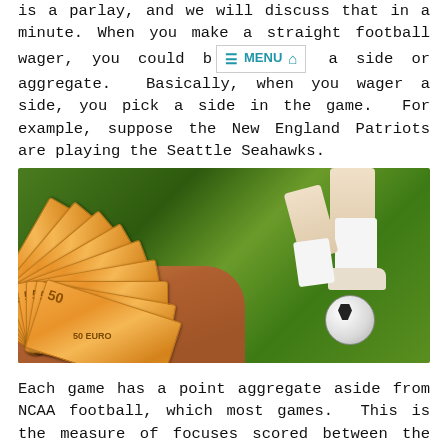is a parlay, and we will discuss that in a minute. When you make a straight football wager, you could b[MENU][HOME] a side or aggregate. Basically, when you wager a side, you pick a side in the game. For example, suppose the New England Patriots are playing the Seattle Seahawks.
[Figure (photo): A hand holding a fan of 50 Euro banknotes on the left side, and a soccer player's legs with a ball on a green grass field on the right side.]
Each game has a point aggregate aside from NCAA football, which most games. This is the measure of focuses scored between the two groups. At the point